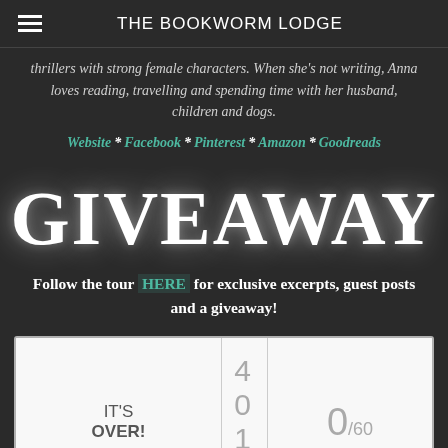THE BOOKWORM LODGE
thrillers with strong female characters. When she's not writing, Anna loves reading, travelling and spending time with her husband, children and dogs.
Website * Facebook * Pinterest * Amazon * Goodreads
Giveaway
Follow the tour HERE for exclusive excerpts, guest posts and a giveaway!
| Status | Entries | Winners |
| --- | --- | --- |
| IT'S OVER! | 4 0 1 5 | 0/60 |